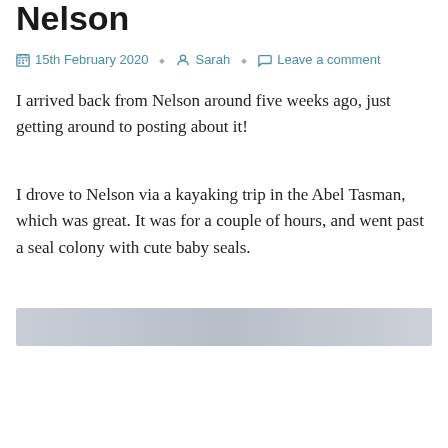Nelson
15th February 2020  Sarah  Leave a comment
I arrived back from Nelson around five weeks ago, just getting around to posting about it!
I drove to Nelson via a kayaking trip in the Abel Tasman, which was great. It was for a couple of hours, and went past a seal colony with cute baby seals.
[Figure (photo): A gray/silver image placeholder or photo strip]